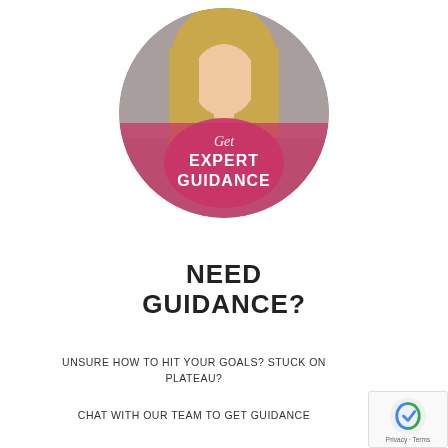[Figure (photo): Circular profile photo of a blonde woman wearing a pink/red outfit, with a pink semi-transparent overlay on the lower half showing the text 'Get EXPERT GUIDANCE']
NEED GUIDANCE?
UNSURE HOW TO HIT YOUR GOALS? STUCK ON PLATEAU?
CHAT WITH OUR TEAM TO GET GUIDANCE